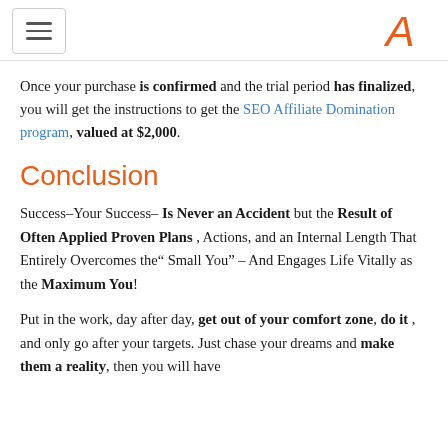[hamburger menu] [logo: stylized A]
Once your purchase is confirmed and the trial period has finalized, you will get the instructions to get the SEO Affiliate Domination program, valued at $2,000.
Conclusion
Success–Your Success– Is Never an Accident but the Result of Often Applied Proven Plans , Actions, and an Internal Length That Entirely Overcomes the" Small You" – And Engages Life Vitally as the Maximum You!
Put in the work, day after day, get out of your comfort zone, do it , and only go after your targets. Just chase your dreams and make them a reality, then you will have